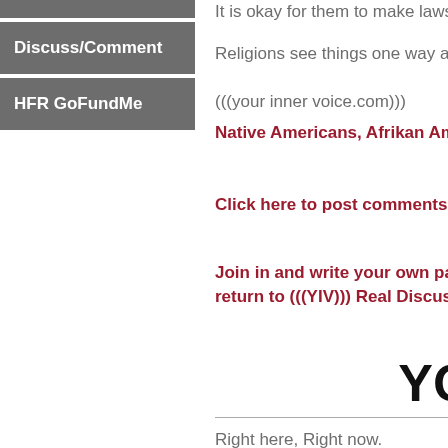Discuss/Comment
HFR GoFundMe
It is okay for them to make laws s…
Religions see things one way and…
(((your inner voice.com)))
Native Americans, Afrikan Ame…
Click here to post comments
Join in and write your own page… return to (((YIV))) Real Discussi…
YOU
Right here, Right now.